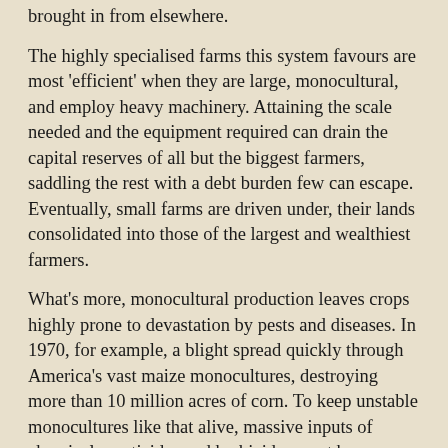brought in from elsewhere.
The highly specialised farms this system favours are most 'efficient' when they are large, monocultural, and employ heavy machinery. Attaining the scale needed and the equipment required can drain the capital reserves of all but the biggest farmers, saddling the rest with a debt burden few can escape. Eventually, small farms are driven under, their lands consolidated into those of the largest and wealthiest farmers.
What's more, monocultural production leaves crops highly prone to devastation by pests and diseases. In 1970, for example, a blight spread quickly through America's vast maize monocultures, destroying more than 10 million acres of corn. To keep unstable monocultures like that alive, massive inputs of chemicals pesticides and herbicides must be deployed. Along with their environmental and human health effects, these off-farm inputs siphon away a large portion of the farmer's income.
The continual need to purchase the latest equipment, the